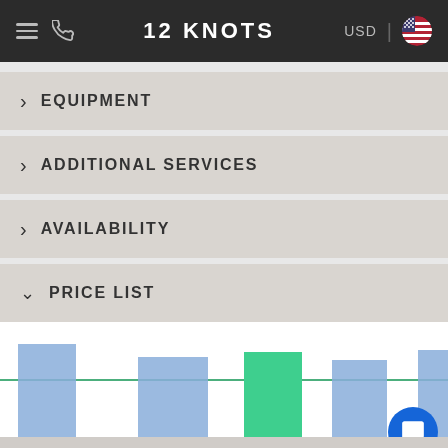12 KNOTS  USD
> EQUIPMENT
> ADDITIONAL SERVICES
> AVAILABILITY
v PRICE LIST
[Figure (bar-chart): Bar chart showing booking prices across dates. Multiple blue bars and one green bar, with a horizontal green reference line. The green bar indicates a selected/highlighted booking period. Some bars are clipped at the bottom indicating a price floor.]
from $2,939
for 7 days
Booked! Choose another date.